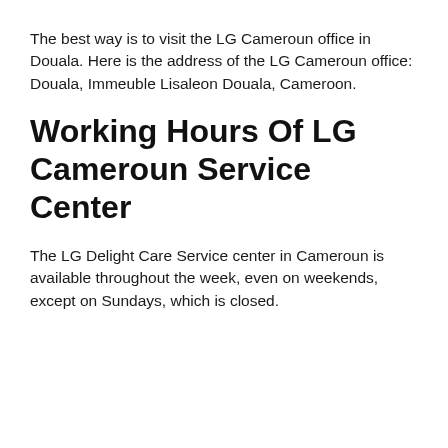The best way is to visit the LG Cameroun office in Douala. Here is the address of the LG Cameroun office: Douala, Immeuble Lisaleon Douala, Cameroon.
Working Hours Of LG Cameroun Service Center
The LG Delight Care Service center in Cameroun is available throughout the week, even on weekends, except on Sundays, which is closed.